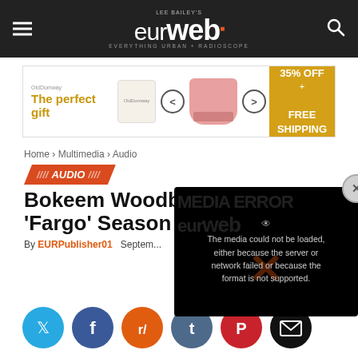eurweb - Lee Bailey's - EVERYTHING URBAN + RADIOSCOPE
[Figure (infographic): Advertisement banner: 'The perfect gift' with bowl image, 35% OFF + FREE SHIPPING offer]
Home › Multimedia › Audio
AUDIO
Bokeem Woodbine 'Fargo' Season 2
By EURPublisher01   Septem...
[Figure (screenshot): Media error overlay: 'The media could not be loaded, either because the server or network failed or because the format is not supported.']
[Figure (infographic): Social share buttons row: Twitter, Facebook, Reddit, Tumblr, Pinterest, Email]